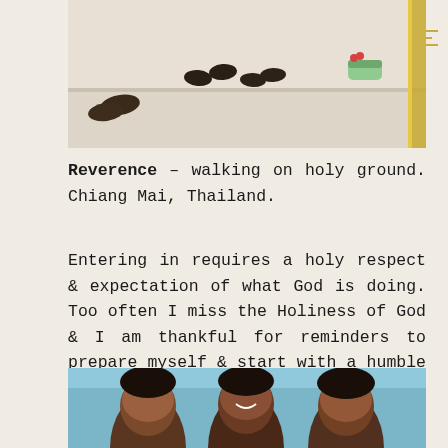[Figure (photo): Shoes and sandals left outside a temple entrance on white marble steps, Chiang Mai, Thailand. Decorative golden border visible on the right edge.]
Reverence – walking on holy ground. Chiang Mai, Thailand.
Entering in requires a holy respect & expectation of what God is doing. Too often I miss the Holiness of God & I am thankful for reminders to prepare myself & start with a humble reverence.
[Figure (photo): Group of smiling children photographed against a blue wall background.]